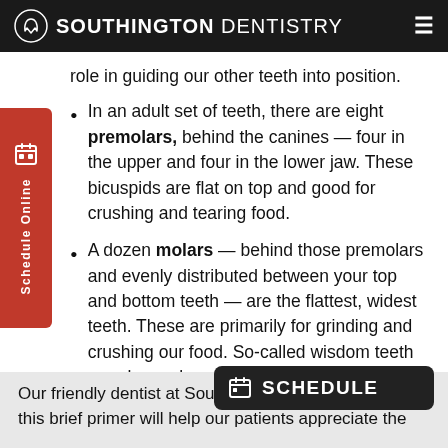SOUTHINGTON DENTISTRY
role in guiding our other teeth into position.
In an adult set of teeth, there are eight premolars, behind the canines — four in the upper and four in the lower jaw. These bicuspids are flat on top and good for crushing and tearing food.
A dozen molars — behind those premolars and evenly distributed between your top and bottom teeth — are the flattest, widest teeth. These are primarily for grinding and crushing our food. So-called wisdom teeth are also molars, and are the last to erupt in adulthood.
Our friendly dentist at Southin… this brief primer will help our patients appreciate the